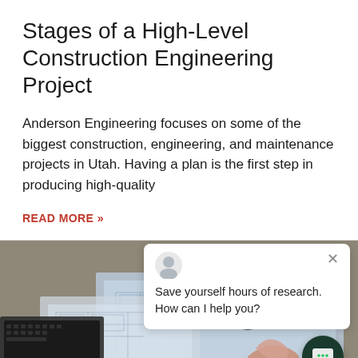Stages of a High-Level Construction Engineering Project
Anderson Engineering focuses on some of the biggest construction, engineering, and maintenance projects in Utah. Having a plan is the first step in producing high-quality
READ MORE »
[Figure (photo): Engineering/construction photo showing blueprints on a table, laptop, and a person pointing at engineering drawings, with a chat widget overlay]
Save yourself hours of research. How can I help you?